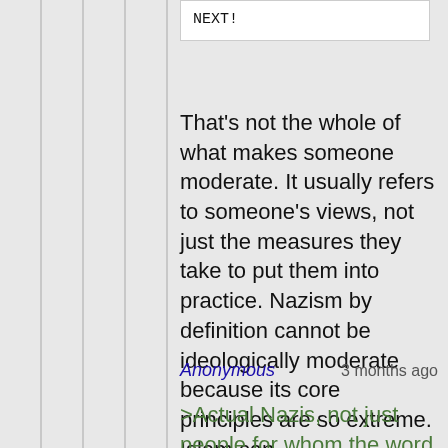NEXT!
That's not the whole of what makes someone moderate. It usually refers to someone's views, not just the measures they take to put them into practice. Nazism by definition cannot be ideologically moderate because its core principles are so extreme. Islam can.
Anonymous  3 months ago
>Actual Nazis, not just people for whom the word is